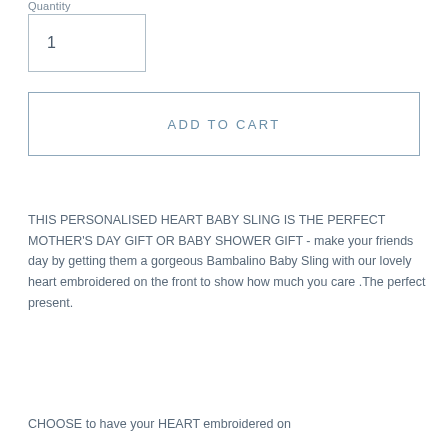Quantity
1
ADD TO CART
THIS PERSONALISED HEART BABY SLING IS THE PERFECT MOTHER'S DAY GIFT OR BABY SHOWER GIFT - make your friends day by getting them a gorgeous Bambalino Baby Sling with our lovely heart embroidered on the front to show how much you care .The perfect present.
CHOOSE to have your HEART embroidered on